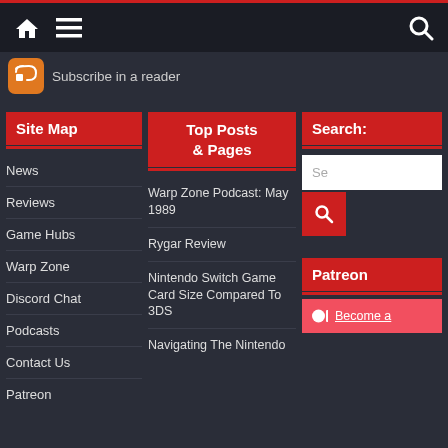Navigation bar with home, menu, and search icons
[Figure (screenshot): RSS feed orange icon]
Subscribe in a reader
Site Map
Top Posts & Pages
Search:
News
Reviews
Game Hubs
Warp Zone
Discord Chat
Podcasts
Contact Us
Patreon
Warp Zone Podcast: May 1989
Rygar Review
Nintendo Switch Game Card Size Compared To 3DS
Navigating The Nintendo
Patreon
Become a